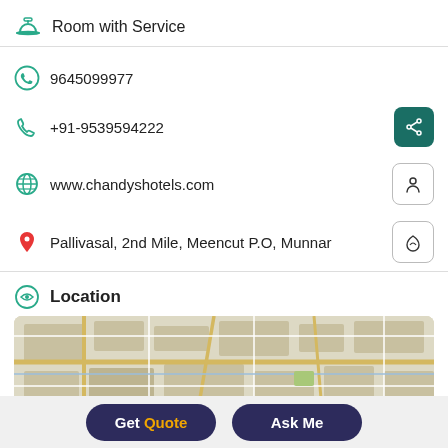Room with Service
9645099977
+91-9539594222
www.chandyshotels.com
Pallivasal, 2nd Mile, Meencut P.O, Munnar
Location
[Figure (map): Street map showing the area around the hotel location]
Get Quote
Ask Me